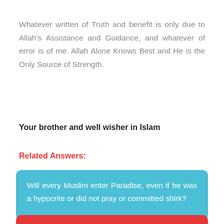Whatever written of Truth and benefit is only due to Allah's Assistance and Guidance, and whatever of error is of me. Allah Alone Knows Best and He is the Only Source of Strength.
Your brother and well wisher in Islam
Related Answers:
Will every Muslim enter Paradise, even if he was a hypocrite or did not pray or committed shirk?